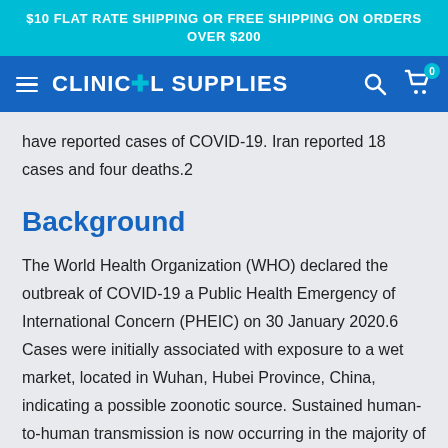$10 FLAT RATE SHIPPING OR FREE SHIPPING ON ORDERS OVER $200
[Figure (logo): Clinical Supplies logo with hamburger menu, search icon, and cart icon on blue navigation bar]
have reported cases of COVID-19. Iran reported 18 cases and four deaths.2
Background
The World Health Organization (WHO) declared the outbreak of COVID-19 a Public Health Emergency of International Concern (PHEIC) on 30 January 2020.6 Cases were initially associated with exposure to a wet market, located in Wuhan, Hubei Province, China, indicating a possible zoonotic source. Sustained human-to-human transmission is now occurring in the majority of provinces outside of Hubei Province in China. In an effort to